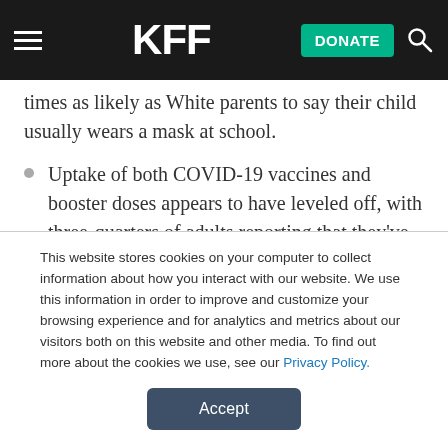KFF | DONATE
times as likely as White parents to say their child usually wears a mask at school.
Uptake of both COVID-19 vaccines and booster doses appears to have leveled off, with three-quarters of adults reporting that they've received at least one dose of a vaccine (relatively unchanged since September 2021)
This website stores cookies on your computer to collect information about how you interact with our website. We use this information in order to improve and customize your browsing experience and for analytics and metrics about our visitors both on this website and other media. To find out more about the cookies we use, see our Privacy Policy.
Accept